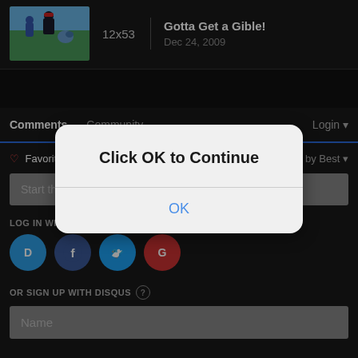[Figure (screenshot): Episode thumbnail showing Ash and Gible from Pokemon anime]
12x53
Gotta Get a Gible!
Dec 24, 2009
Comments
Community
Login
♡ Favorite
Sort by Best
Start the discussion...
LOG IN WITH
[Figure (logo): Disqus, Facebook, Twitter, Google social login icons]
OR SIGN UP WITH DISQUS
Name
Click OK to Continue
OK